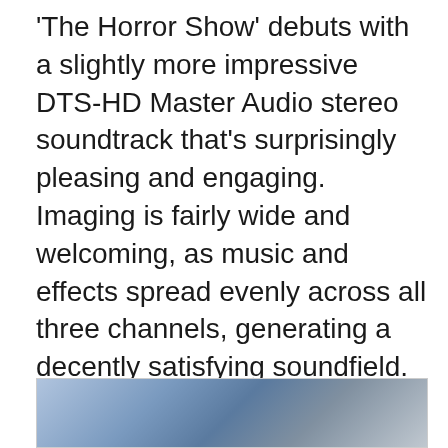'The Horror Show' debuts with a slightly more impressive DTS-HD Master Audio stereo soundtrack that's surprisingly pleasing and engaging. Imaging is fairly wide and welcoming, as music and effects spread evenly across all three channels, generating a decently satisfying soundfield. Vocals are delivered cleanly in the center and very well-prioritized even amongst the loudest action sequences while separation is nicely balanced with better than expected, room-penetrating dynamics. Low-frequency effects are deep and responsive for a nearly 25-year-old movie, providing the action and music with some appreciable weight. In the end, the lossless mix gets the job done with aplomb.
[Figure (photo): Partial view of a scene from The Horror Show, showing what appears to be a dimly lit action or horror scene]